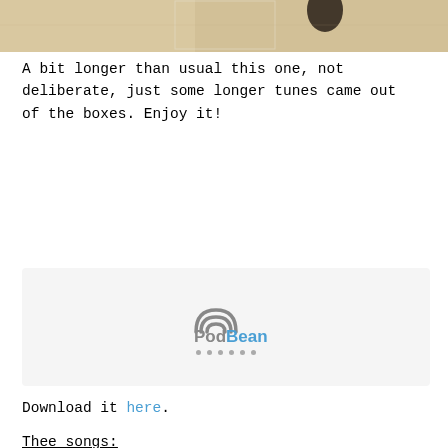[Figure (photo): Partial top portion of an image showing what appears to be vintage or retro artwork with a beige/tan background and dark figures, cropped at the top of the page]
A bit longer than usual this one, not deliberate, just some longer tunes came out of the boxes. Enjoy it!
[Figure (other): PodBean podcast player widget with light gray background showing the PodBean logo (wifi-style arc icon in gray and blue text) and loading dots]
Download it here.
Thee songs:
What Does Your Soul Look Like Part II – DJ Shadow
Out of Reach – Bananagun